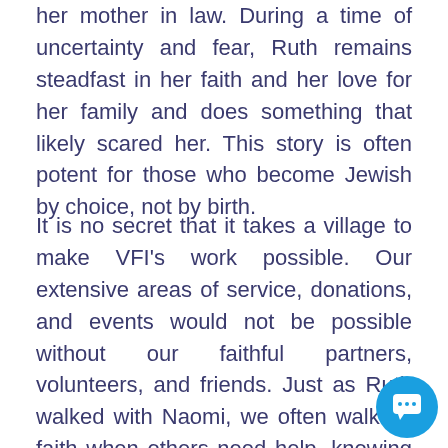her mother in law. During a time of uncertainty and fear, Ruth remains steadfast in her faith and her love for her family and does something that likely scared her. This story is often potent for those who become Jewish by choice, not by birth.
It is no secret that it takes a village to make VFI's work possible. Our extensive areas of service, donations, and events would not be possible without our faithful partners, volunteers, and friends. Just as Ruth walked with Naomi, we often walk by faith when others need help, knowing only that we must serve them and help however we can. It is not our place to understand the situation fully nor feel comfortable, it is our job to carry out the